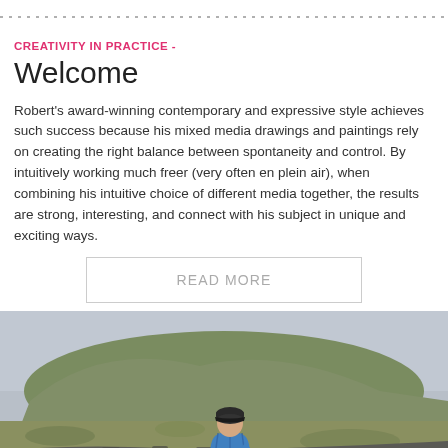· · · · · · · · · · · · · · · · · · · · · · · · · · · · · · · · · · · · · · · · · · · ·
CREATIVITY IN PRACTICE -
Welcome
Robert's award-winning contemporary and expressive style achieves such success because his mixed media drawings and paintings rely on creating the right balance between spontaneity and control. By intuitively working much freer (very often en plein air), when combining his intuitive choice of different media together, the results are strong, interesting, and connect with his subject in unique and exciting ways.
READ MORE
[Figure (photo): A person in a blue puffer jacket and black beanie hat crouching by a dry stone wall in an open moorland landscape with a hill in the background under an overcast sky, appearing to sketch or draw outdoors.]